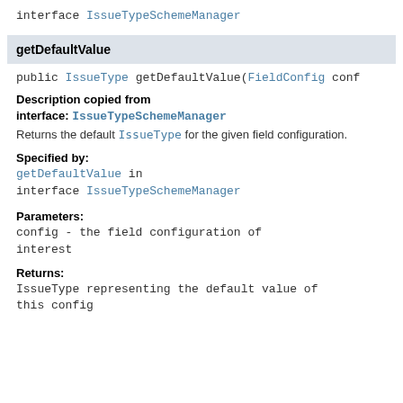interface IssueTypeSchemeManager
getDefaultValue
public IssueType getDefaultValue(FieldConfig conf
Description copied from interface: IssueTypeSchemeManager
Returns the default IssueType for the given field configuration.
Specified by:
getDefaultValue in interface IssueTypeSchemeManager
Parameters:
config - the field configuration of interest
Returns:
IssueType representing the default value of this config